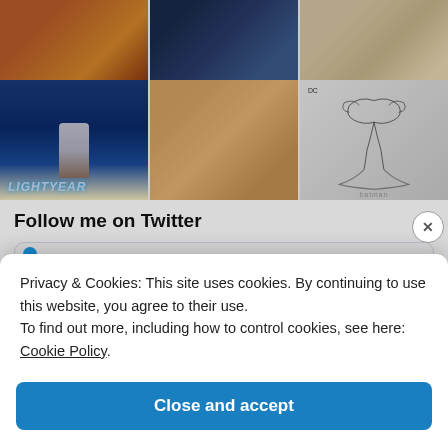[Figure (photo): Top row of image grid: three partially visible photos - food/meat, gaming event scoreboard, signed photo]
[Figure (photo): Second row of image grid: Lightyear movie poster with person, colorful sushi/food platter, Batman sketch comic book cover]
Follow me on Twitter
Privacy & Cookies: This site uses cookies. By continuing to use this website, you agree to their use.
To find out more, including how to control cookies, see here: Cookie Policy
Close and accept